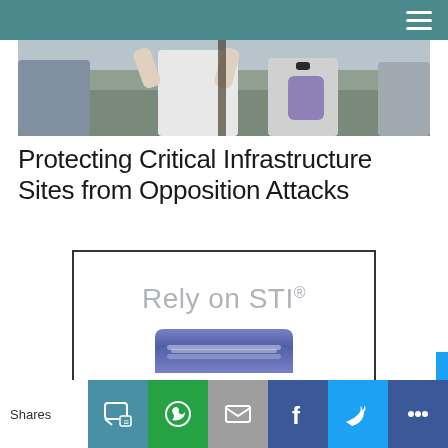[Figure (photo): Outdoor crowd/protest scene with people in foreground, some raising arms, trees in background]
Protecting Critical Infrastructure Sites from Opposition Attacks
[Figure (infographic): Promotional box with border containing text 'Rely on STI®' in light gray and a blue rectangular device at the bottom]
Shares